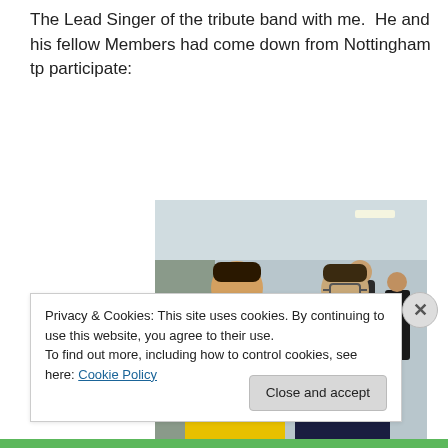The Lead Singer of the tribute band with me.  He and his fellow Members had come down from Nottingham tp participate:
[Figure (photo): Two men posing together indoors. The man on the left is wearing a bright yellow jacket resembling Freddie Mercury's stage costume, with a mustache. The man on the right is wearing a dark suit with a blue shirt and patterned tie, with glasses. Other people are visible in the background.]
Privacy & Cookies: This site uses cookies. By continuing to use this website, you agree to their use.
To find out more, including how to control cookies, see here: Cookie Policy
Close and accept